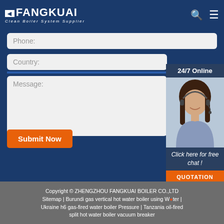FANGKUAI - Clean Boiler System Supplier
Phone:
Country:
Message:
[Figure (photo): Customer service agent with headset smiling, with '24/7 Online' label above and 'Click here for free chat!' and 'QUOTATION' button below]
Submit Now
Copyright © ZHENGZHOU FANGKUAI BOILER CO.,LTD Sitemap | Burundi gas vertical hot water boiler using Water | Ukraine h6 gas-fired water boiler Pressure | Tanzania oil-fired split hot water boiler vacuum breaker